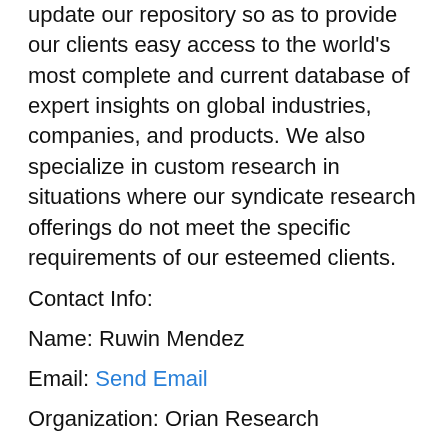update our repository so as to provide our clients easy access to the world's most complete and current database of expert insights on global industries, companies, and products. We also specialize in custom research in situations where our syndicate research offerings do not meet the specific requirements of our esteemed clients.
Contact Info:
Name: Ruwin Mendez
Email: Send Email
Organization: Orian Research
Website:
https://www.orianresearch.com/report/global-glutaric-acid-market-2018-by-manufacturers-regions-type-and-application-forecast-to-2023/689762